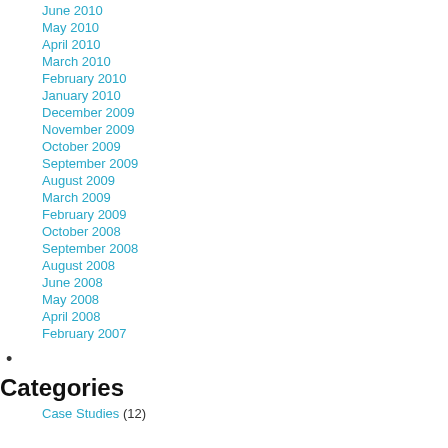June 2010
May 2010
April 2010
March 2010
February 2010
January 2010
December 2009
November 2009
October 2009
September 2009
August 2009
March 2009
February 2009
October 2008
September 2008
August 2008
June 2008
May 2008
April 2008
February 2007
Categories
Case Studies (12)